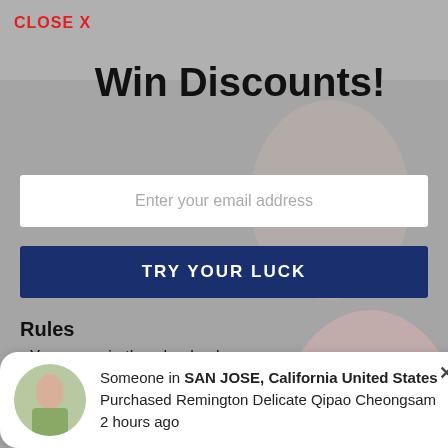CLOSE X
Win Discounts!
Enter your email address
TRY YOUR LUCK
Rules
You can spin the wheel only once.
If you win, you can claim your coupon!
Someone in SAN JOSE, California United States Purchased Remington Delicate Qipao Cheongsam 2 hours ago